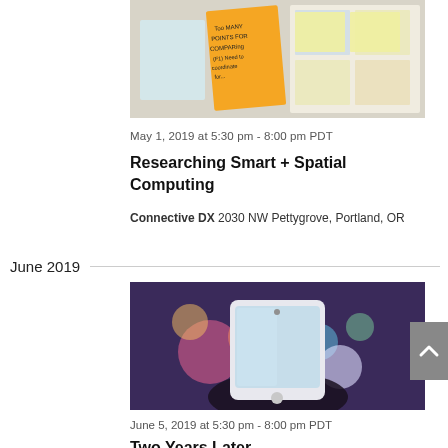[Figure (photo): Sticky notes on a board, including one orange note that says 'Too Many Points for Comparing (F1) Need to coordinate for...']
May 1, 2019 at 5:30 pm - 8:00 pm PDT
Researching Smart + Spatial Computing
Connective DX 2030 NW Pettygrove, Portland, OR
June 2019
[Figure (photo): A hand holding a smartphone with colorful bokeh lights (pink, red, orange, white, green) on a purple background]
June 5, 2019 at 5:30 pm - 8:00 pm PDT
Two Years Later